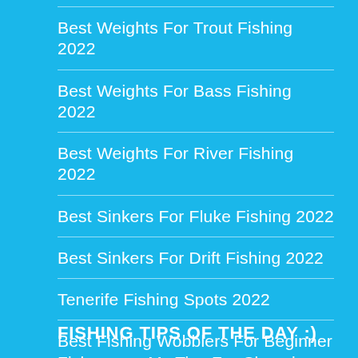Best Weights For Trout Fishing 2022
Best Weights For Bass Fishing 2022
Best Weights For River Fishing 2022
Best Sinkers For Fluke Fishing 2022
Best Sinkers For Drift Fishing 2022
Tenerife Fishing Spots 2022
Best Fishing Wobblers For Beginner Fishermen: My Tips For Choosing
How to Fish With a Wobbler?
FISHING TIPS OF THE DAY :)